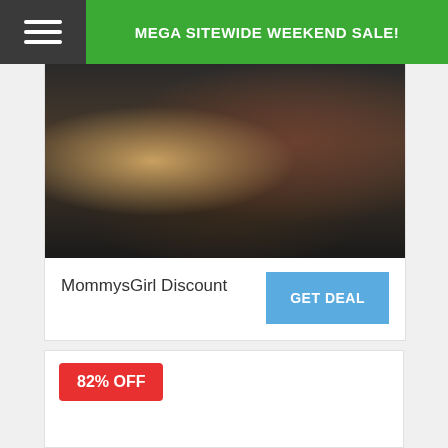MEGA SITEWIDE WEEKEND SALE!
[Figure (photo): Close-up photo of two people embracing, one with blonde hair and tattoos, the other with dark hair]
MommysGirl Discount
GET DEAL
82% OFF